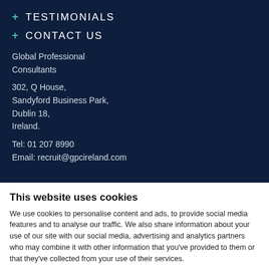+ TESTIMONIALS
+ CONTACT US
Global Professional Consultants
302, Q House,
Sandyford Business Park,
Dublin 18,
Ireland.
Tel: 01 207 8990
Email: recruit@gpcireland.com
This website uses cookies
We use cookies to personalise content and ads, to provide social media features and to analyse our traffic. We also share information about your use of our site with our social media, advertising and analytics partners who may combine it with other information that you've provided to them or that they've collected from your use of their services.
Deny | Allow selection | Allow all
Necessary | Preferences | Statistics | Marketing | Show details